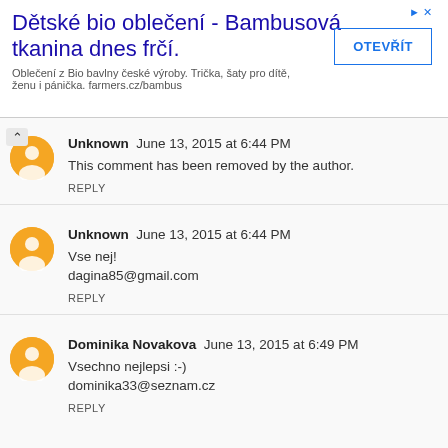[Figure (other): Advertisement banner: Dětské bio oblečení - Bambusová tkanina dnes frčí. With OTEVŘÍT button.]
Unknown June 13, 2015 at 6:44 PM
This comment has been removed by the author.
REPLY
Unknown June 13, 2015 at 6:44 PM
Vse nej!
dagina85@gmail.com
REPLY
Dominika Novakova June 13, 2015 at 6:49 PM
Vsechno nejlepsi :-)
dominika33@seznam.cz
REPLY